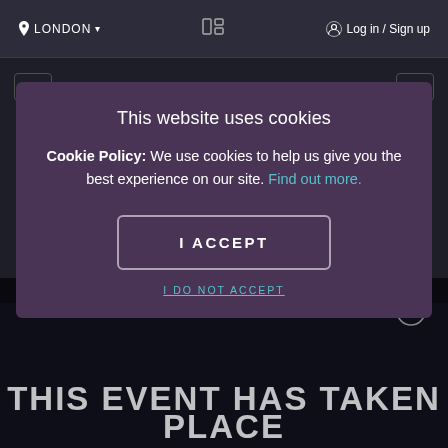📍 LONDON ▾   [icon]   👤 Log in / Sign up
This website uses cookies
Cookie Policy: We use cookies to help us give you the best experience on our site. Find out more.
I ACCEPT
I DO NOT ACCEPT
Boom Cycle
THIS EVENT HAS TAKEN PLACE